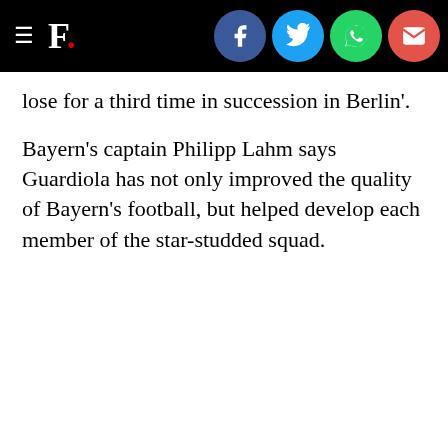F.
lose for a third time in succession in Berlin'.
Bayern's captain Philipp Lahm says Guardiola has not only improved the quality of Bayern's football, but helped develop each member of the star-studded squad.